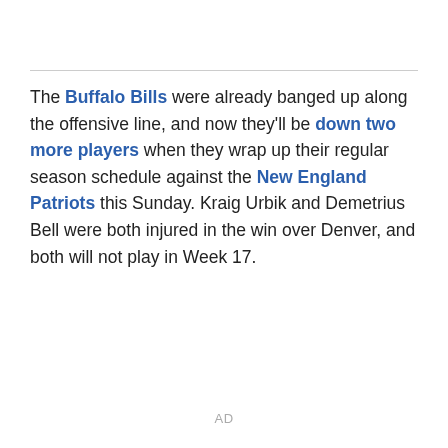The Buffalo Bills were already banged up along the offensive line, and now they'll be down two more players when they wrap up their regular season schedule against the New England Patriots this Sunday. Kraig Urbik and Demetrius Bell were both injured in the win over Denver, and both will not play in Week 17.
AD